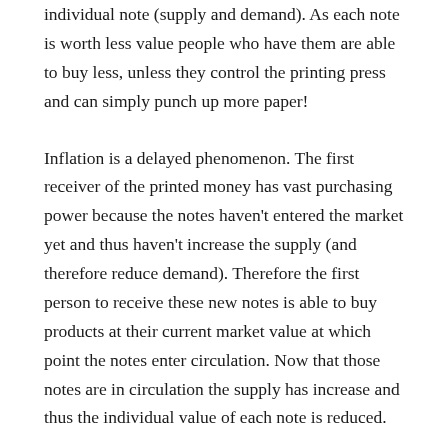individual note (supply and demand). As each note is worth less value people who have them are able to buy less, unless they control the printing press and can simply punch up more paper!
Inflation is a delayed phenomenon. The first receiver of the printed money has vast purchasing power because the notes haven't entered the market yet and thus haven't increase the supply (and therefore reduce demand). Therefore the first person to receive these new notes is able to buy products at their current market value at which point the notes enter circulation. Now that those notes are in circulation the supply has increase and thus the individual value of each note is reduced.
Gold and silver can't simply be printed up and they're